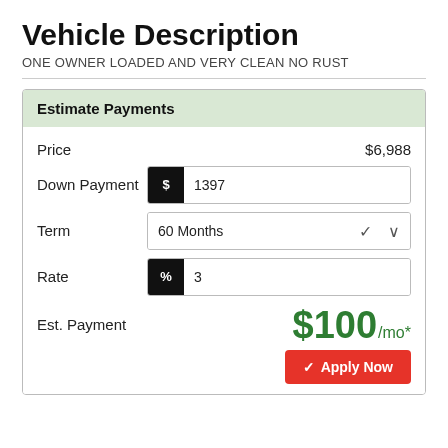Vehicle Description
ONE OWNER LOADED AND VERY CLEAN NO RUST
| Price | $6,988 |
| Down Payment | $ 1397 |
| Term | 60 Months |
| Rate | % 3 |
| Est. Payment | $100/mo* |